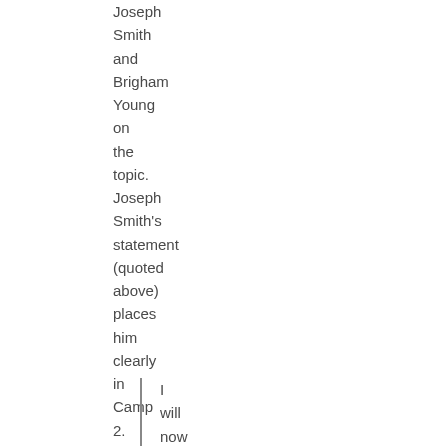Joseph Smith and Brigham Young on the topic. Joseph Smith's statement (quoted above) places him clearly in Camp 2. So does Brigham Young's:
I will now tell